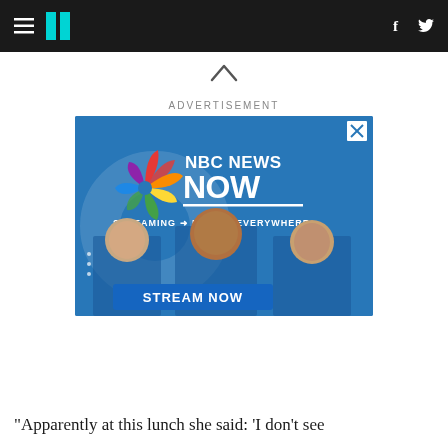HuffPost navigation with hamburger menu, logo, Facebook and Twitter icons
[Figure (other): NBC News Now advertisement banner showing three news anchors with text 'NBC NEWS NOW', 'STREAMING → FREE → EVERYWHERE', and 'STREAM NOW' button]
ADVERTISEMENT
“Apparently at this lunch she said: ‘I don’t see